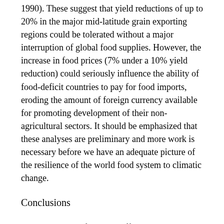1990). These suggest that yield reductions of up to 20% in the major mid-latitude grain exporting regions could be tolerated without a major interruption of global food supplies. However, the increase in food prices (7% under a 10% yield reduction) could seriously influence the ability of food-deficit countries to pay for food imports, eroding the amount of foreign currency available for promoting development of their non-agricultural sectors. It should be emphasized that these analyses are preliminary and more work is necessary before we have an adequate picture of the resilience of the world food system to climatic change.
Conclusions
Our assessment of possible effects has, up to this point, assumed that technology and management in agriculture do not alter significantly in response to climatic change, and thus do not alter the magnitude and nature of the impacts that may stem from that change. It is certain, however, that agriculture will adjust and, although these adjustments will be constrained by economic and